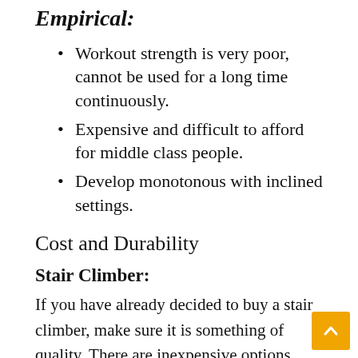Empirical:
Workout strength is very poor, cannot be used for a long time continuously.
Expensive and difficult to afford for middle class people.
Develop monotonous with inclined settings.
Cost and Durability
Stair Climber:
If you have already decided to buy a stair climber, make sure it is something of quality. There are inexpensive options with good value for mon... You can find good stair climbers in the 100 to 300